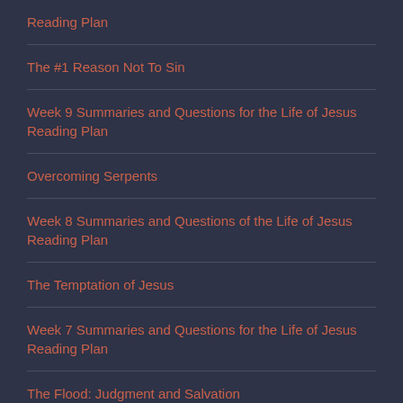Reading Plan
The #1 Reason Not To Sin
Week 9 Summaries and Questions for the Life of Jesus Reading Plan
Overcoming Serpents
Week 8 Summaries and Questions of the Life of Jesus Reading Plan
The Temptation of Jesus
Week 7 Summaries and Questions for the Life of Jesus Reading Plan
The Flood: Judgment and Salvation
Week 6 Summaries and Questions for The Life of Jesus Reading Plan